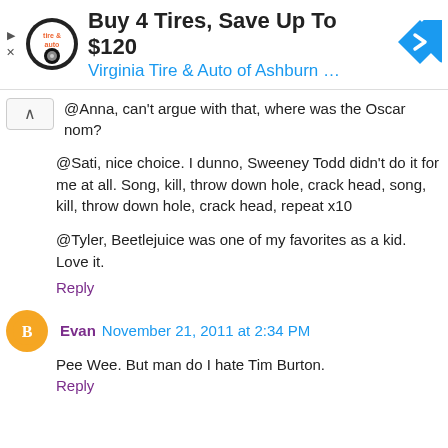[Figure (screenshot): Ad banner for Virginia Tire & Auto of Ashburn with logo, title 'Buy 4 Tires, Save Up To $120', subtitle 'Virginia Tire & Auto of Ashburn ...', and a blue navigation icon on the right.]
@Anna, can't argue with that, where was the Oscar nom?
@Sati, nice choice. I dunno, Sweeney Todd didn't do it for me at all. Song, kill, throw down hole, crack head, song, kill, throw down hole, crack head, repeat x10
@Tyler, Beetlejuice was one of my favorites as a kid. Love it.
Reply
Evan  November 21, 2011 at 2:34 PM
Pee Wee. But man do I hate Tim Burton.
Reply